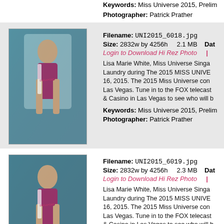Keywords: Miss Universe 2015, Prelim
Photographer: Patrick Prather
[Figure (photo): Lisa Marie White, Miss Universe Singapore, in bikini on stage at Miss Universe 2015 preliminary competition]
Filename: UNI2015_6018.jpg
Size: 2832w by 4256h   2.1 MB   Dat
Login to Download Hi Rez Photo
Lisa Marie White, Miss Universe Singapore, Laundry during The 2015 MISS UNIVERSE 16, 2015. The 2015 Miss Universe con Las Vegas. Tune in to the FOX telecast & Casino in Las Vegas to see who will b
Keywords: Miss Universe 2015, Prelim
Photographer: Patrick Prather
[Figure (photo): Lisa Marie White, Miss Universe Singapore, in bikini on stage at Miss Universe 2015 preliminary competition, second image]
Filename: UNI2015_6019.jpg
Size: 2832w by 4256h   2.3 MB   Dat
Login to Download Hi Rez Photo
Lisa Marie White, Miss Universe Singapore, Laundry during The 2015 MISS UNIVERSE 16, 2015. The 2015 Miss Universe con Las Vegas. Tune in to the FOX telecast & Casino in Las Vegas to see who will b
Keywords: Miss Universe 2015, Prelim